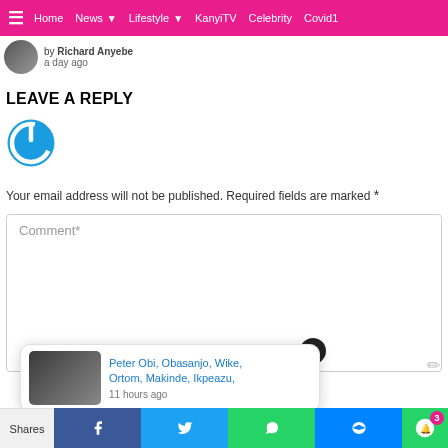≡  Home  News ▾  Lifestyle ▾  KanyiTV  Celebrity  Covid1
by Richard Anyebe
a day ago
LEAVE A REPLY
[Figure (logo): Blue circular power/on button icon]
Your email address will not be published. Required fields are marked *
Comment*
[Figure (screenshot): Popup notification card showing: Peter Obi, Obasanjo, Wike, Ortom, Makinde, Ikpeazu, — 11 hours ago, with a group photo thumbnail]
Shares  [Facebook]  [Twitter]  [WhatsApp]  [Messenger]  [Notification bell 3]